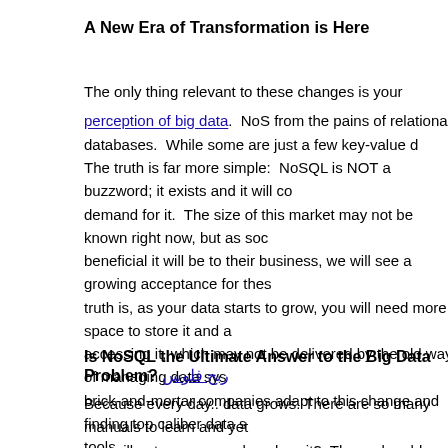A New Era of Transformation is Here
The only thing relevant to these changes is your perception of big data.  NoSQL from the pains of relational databases.  While some are just a few key-value d The truth is far more simple:  NoSQL is NOT a buzzword; it exists and it will co demand for it.  The size of this market may not be known right now, but as soc beneficial it will be to their business, we will see a growing acceptance for thes truth is, as your data starts to grow, you will need more space to store it and a accessing it, which may not be delivered by the old way of managing data sys brick-and-mortar companies adapt to this change and finding top caliber data s tools.
Is NoSQL the Ultimate Answer to the Big Data Problem? ربح فلوس
Because every day.. data grows. There are so many manuals to learn and yet you will not manage and analyze it?  The real problem may lie with choosing th business.  While there are those who love the idea of a non-relational, non-str are saying that the level of risks are high. العاب كازينو  There are errors to con sustain a project.  Just because talks of NoSQL is hot these days doesn't mea technology.  Yes, data is increasing, from structured to unstructured, and you n